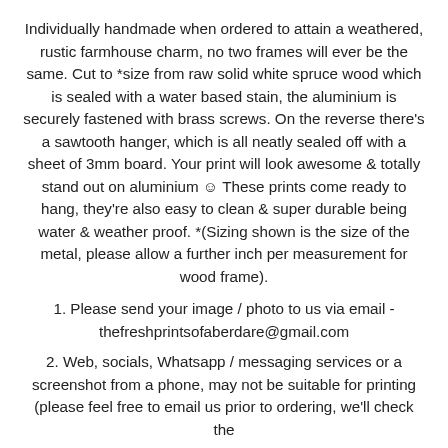Individually handmade when ordered to attain a weathered, rustic farmhouse charm, no two frames will ever be the same. Cut to *size from raw solid white spruce wood which is sealed with a water based stain, the aluminium is securely fastened with brass screws. On the reverse there's a sawtooth hanger, which is all neatly sealed off with a sheet of 3mm board. Your print will look awesome & totally stand out on aluminium ☺ These prints come ready to hang, they're also easy to clean & super durable being water & weather proof. *(Sizing shown is the size of the metal, please allow a further inch per measurement for wood frame).
1. Please send your image / photo to us via email - thefreshprintsofaberdare@gmail.com
2. Web, socials, Whatsapp / messaging services or a screenshot from a phone, may not be suitable for printing (please feel free to email us prior to ordering, we'll check the